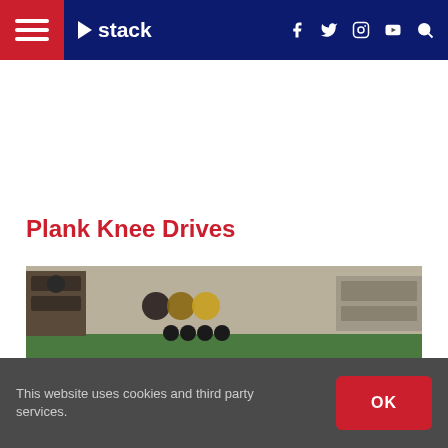Stack — navigation bar with hamburger menu, logo, social icons (Facebook, Twitter, Instagram, YouTube), and search
Plank Knee Drives
[Figure (photo): A man performing plank knee drives exercise on a green gym floor. He is in a plank position wearing a mint green shirt and grey shorts. The gym background shows various exercise balls and equipment on shelves.]
This website uses cookies and third party services.
OK